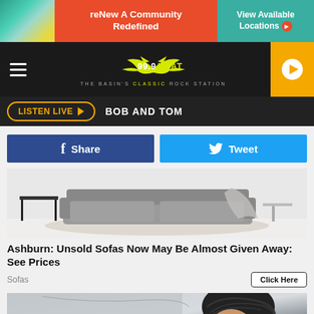[Figure (other): Top advertisement banner: reNew A Community Redefined / View Available Locations with arrow]
[Figure (other): Radio station navigation bar with hamburger menu, 99.9 KBAT THE BASIN'S CLASSIC ROCK STATION logo, and orange play button]
[Figure (other): LISTEN LIVE button with play arrow and BOB AND TOM text]
[Figure (other): Facebook Share and Twitter Tweet social sharing buttons]
[Figure (photo): Photo of a gray sofa/couch in a living room setting]
Ashburn: Unsold Sofas Now May Be Almost Given Away: See Prices
Sofas
Click Here
[Figure (photo): Photo of a cyclist wearing a black helmet]
[Figure (other): Bottom advertisement banner: reNew A Community Redefined / View Available Locations with arrow]